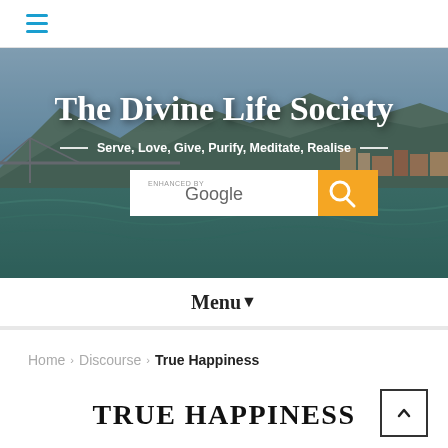[Figure (screenshot): Hamburger menu icon (three horizontal lines in blue) in top navigation bar]
[Figure (photo): Hero banner with background photo of Rishikesh riverfront and mountains, showing 'The Divine Life Society' website header with tagline and Google search bar]
Menu ▾
Home › Discourse › True Happiness
TRUE HAPPINESS